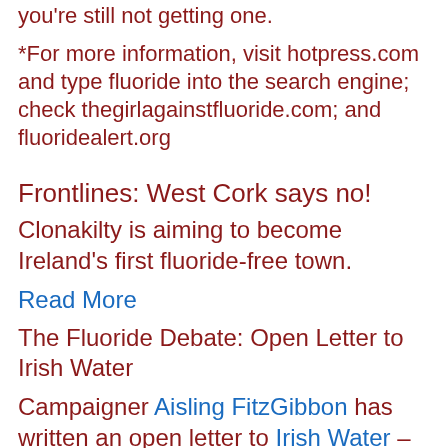you're still not getting one.
*For more information, visit hotpress.com and type fluoride into the search engine; check thegirlagainstfluoride.com; and fluoridealert.org
Frontlines: West Cork says no!
Clonakilty is aiming to become Ireland's first fluoride-free town.
Read More
The Fluoride Debate: Open Letter to Irish Water
Campaigner Aisling FitzGibbon has written an open letter to Irish Water – the new semi-State body that is taking charge of the management of the national water supply.
Adrienne Murphyinvestigates.